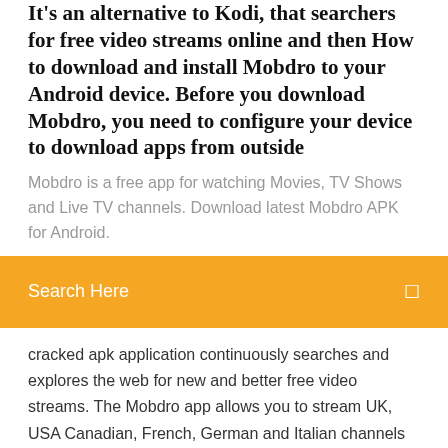It's an alternative to Kodi, that searchers for free video streams online and then How to download and install Mobdro to your Android device. Before you download Mobdro, you need to configure your device to download apps from outside
Mobdro is a free app for watching Movies, TV Shows and Live TV channels. Download latest Mobdro APK for Android.
Search Here
cracked apk application continuously searches and explores the web for new and better free video streams. The Mobdro app allows you to stream UK, USA Canadian, French, German and Italian channels live online on your firestick. We have provided five methods for installing mobdro on firestick. Listed are the best Jailbroken Firestick Channels and app for your jailbroken firestick. Apps like mobdro, kodi, showbox, downloader, etc are best suited. In this matter, there're a few different ways of installing Mobdro for Firestick, we have two favorite options,